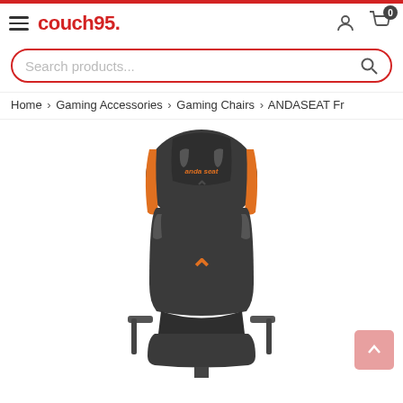couch95. — navigation header with hamburger menu, user icon, cart (0)
Search products...
Home > Gaming Accessories > Gaming Chairs > ANDASEAT Fr
[Figure (photo): ANDASEAT Fnatic edition gaming chair in dark grey/charcoal with orange accent stripes and Fnatic logo emblem on the headrest and seat back. Racing-style bucket seat design with adjustable armrests visible.]